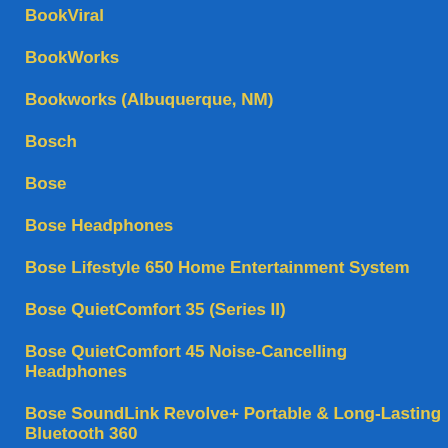BookViral
BookWorks
Bookworks (Albuquerque, NM)
Bosch
Bose
Bose Headphones
Bose Lifestyle 650 Home Entertainment System
Bose QuietComfort 35 (Series II)
Bose QuietComfort 45 Noise-Cancelling Headphones
Bose SoundLink Revolve+ Portable & Long-Lasting Bluetooth 360